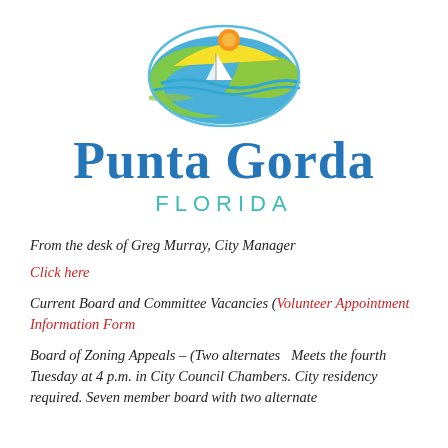[Figure (logo): Punta Gorda Florida city logo: oval shape with blue water, yellow/green sunrise hills, white sailboat, and orange sun]
Punta Gorda
FLORIDA
From the desk of Greg Murray, City Manager
Click here
Current Board and Committee Vacancies (Volunteer Appointment Information Form
Board of Zoning Appeals – (Two alternates  Meets the fourth Tuesday at 4 p.m. in City Council Chambers. City residency required. Seven member board with two alternate